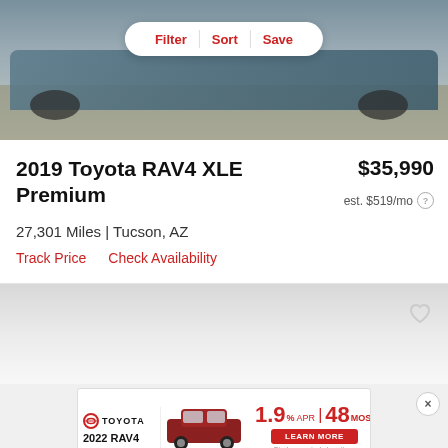[Figure (photo): Partial front/side view of a blue/grey Toyota RAV4 SUV on asphalt, with Filter/Sort/Save toolbar overlay]
2019 Toyota RAV4 XLE Premium
$35,990
est. $519/mo
27,301 Miles | Tucson, AZ
Track Price   Check Availability
[Figure (photo): Next vehicle card partially visible with heart/save icon]
[Figure (other): Toyota advertisement banner: 2022 RAV4 at 1.9% APR for 48 months, Learn More button]